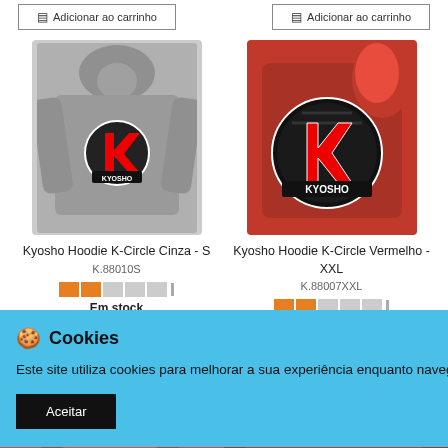[Figure (screenshot): Two 'Adicionar ao carrinho' (Add to cart) buttons at the top of the page, one on left column and one on right column]
[Figure (photo): Kyosho Hoodie K-Circle Cinza (Grey) size S product image showing a grey hoodie with Kyosho K logo]
Kyosho Hoodie K-Circle Cinza - S
K.88010S
[Figure (infographic): Stock level bar indicator showing 2 orange segments and 3 grey segments]
Em stock
39,00 €
[Figure (photo): Kyosho Hoodie K-Circle Vermelho (Red) size XXL product image showing a folded red hoodie with large Kyosho K-Circle logo]
Kyosho Hoodie K-Circle Vermelho - XXL
K.88007XXL
[Figure (infographic): Stock level bar indicator showing 2 orange segments and 3 grey segments]
Em stock
36,00 €
onar ao carrinho
🍪  Cookies
Este site utiliza cookies para melhorar a sua experiência enquanto navega.
Aceitar